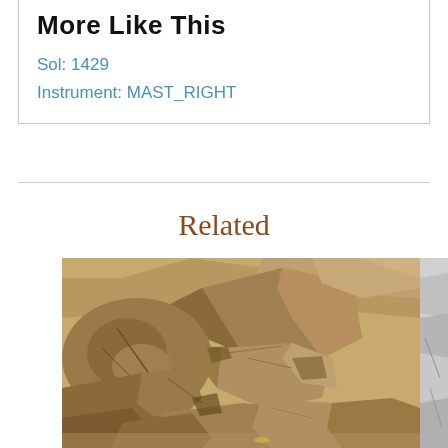More Like This
Sol: 1429
Instrument: MAST_RIGHT
Related
[Figure (photo): Mars surface photo showing rocky terrain with tan/brown sedimentary rocks and boulders, taken by Curiosity rover MAST_RIGHT camera on Sol 1429]
[Figure (photo): Partial view of another Mars surface photo, grayscale, showing cracked rocky terrain, partially cropped at right edge]